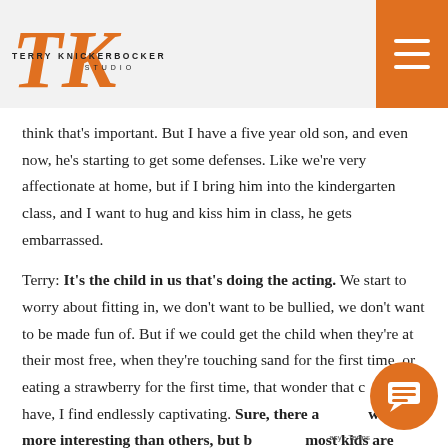Terry Knickerbocker Studio
think that's important. But I have a five year old son, and even now, he's starting to get some defenses. Like we're very affectionate at home, but if I bring him into the kindergarten class, and I want to hug and kiss him in class, he gets embarrassed.
Terry: It's the child in us that's doing the acting. We start to worry about fitting in, we don't want to be bullied, we don't want to be made fun of. But if we could get the child when they're at their most free, when they're touching sand for the first time, or eating a strawberry for the first time, that wonder that children have, I find endlessly captivating. Sure, there are kids who are more interesting than others, but basically most kids are really cool to watch.
[Figure (other): Orange circular chat widget button with speech bubble icon in bottom right corner]